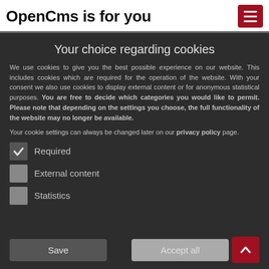OpenCms is for you
Your choice regarding cookies
We use cookies to give you the best possible experience on our website. This includes cookies which are required for the operation of the website. With your consent we also use cookies to display external content or for anonymous statistical purposes. You are free to decide which categories you would like to permit. Please note that depending on the settings you choose, the full functionality of the website may no longer be available.
Your cookie settings can always be changed later on our privacy policy page.
Required
External content
Statistics